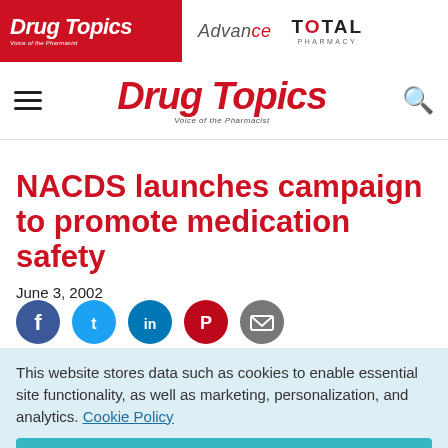Drug Topics | Advance | Total Pharmacy
Drug Topics — Voice of the Pharmacist
NACDS launches campaign to promote medication safety
June 3, 2002
[Figure (infographic): Social sharing icons row: Facebook (blue circle), Twitter (cyan circle), LinkedIn (dark cyan circle), Pinterest (red circle), Email (grey circle)]
This website stores data such as cookies to enable essential site functionality, as well as marketing, personalization, and analytics. Cookie Policy
Accept
Deny